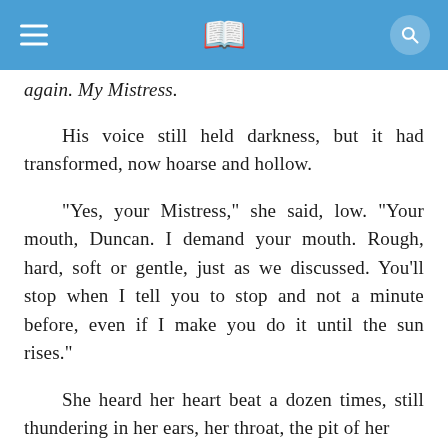[App bar with hamburger menu, book icon, and search button]
again. My Mistress.
His voice still held darkness, but it had transformed, now hoarse and hollow.
"Yes, your Mistress," she said, low. "Your mouth, Duncan. I demand your mouth. Rough, hard, soft or gentle, just as we discussed. You'll stop when I tell you to stop and not a minute before, even if I make you do it until the sun rises."
She heard her heart beat a dozen times, still thundering in her ears, her throat, the pit of her